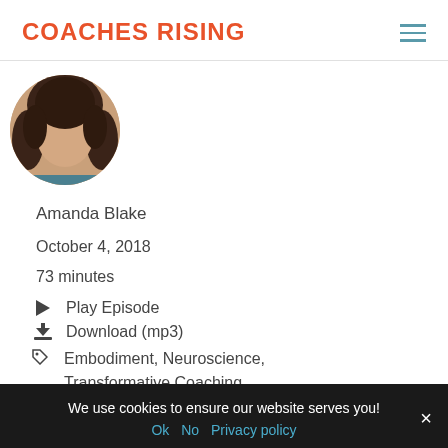COACHES RISING
[Figure (photo): Circular profile photo of Amanda Blake, a woman with dark wavy hair]
Amanda Blake
October 4, 2018
73 minutes
Play Episode
Download (mp3)
Embodiment, Neuroscience, Transformative Coaching
We use cookies to ensure our website serves you!
Ok   No   Privacy policy